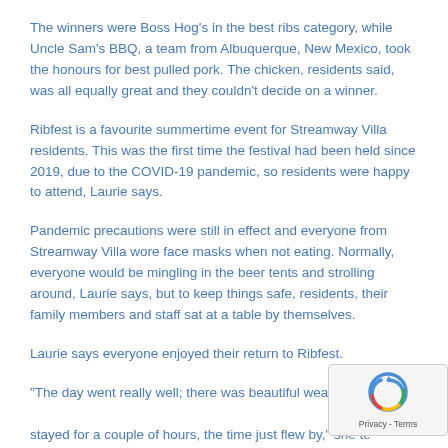The winners were Boss Hog's in the best ribs category, while Uncle Sam's BBQ, a team from Albuquerque, New Mexico, took the honours for best pulled pork. The chicken, residents said, was all equally great and they couldn't decide on a winner.
Ribfest is a favourite summertime event for Streamway Villa residents. This was the first time the festival had been held since 2019, due to the COVID-19 pandemic, so residents were happy to attend, Laurie says.
Pandemic precautions were still in effect and everyone from Streamway Villa wore face masks when not eating. Normally, everyone would be mingling in the beer tents and strolling around, Laurie says, but to keep things safe, residents, their family members and staff sat at a table by themselves.
Laurie says everyone enjoyed their return to Ribfest.
“The day went really well; there was beautiful weather a... stayed for a couple of hours, the time just flew by,” she te... The OMNIway.